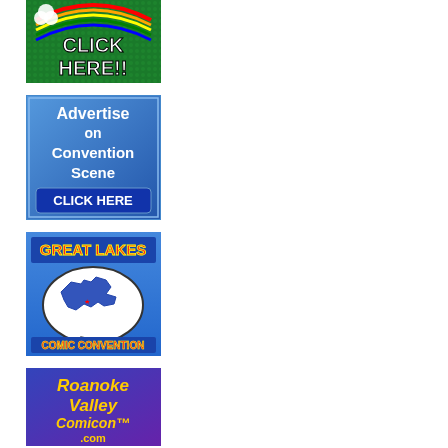[Figure (illustration): Green background banner ad with rainbow arc, shamrock/flower graphic, bold white text reading CLICK HERE!!]
[Figure (illustration): Blue gradient square ad with white text: Advertise on Convention Scene CLICK HERE]
[Figure (illustration): Blue square ad with red/yellow text: GREAT LAKES, speech bubble containing Great Lakes map silhouette, red/yellow text: COMIC CONVENTION]
[Figure (illustration): Blue/purple square ad with yellow stylized text: Roanoke Valley Comicon .com]